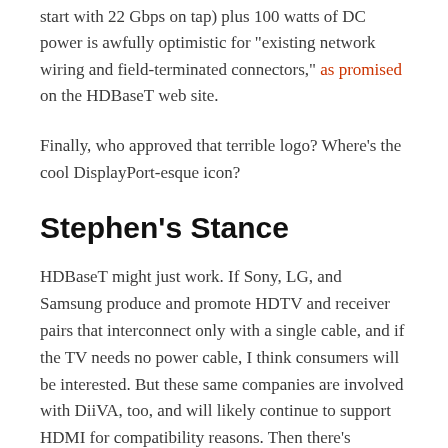start with 22 Gbps on tap) plus 100 watts of DC power is awfully optimistic for "existing network wiring and field-terminated connectors," as promised on the HDBaseT web site.
Finally, who approved that terrible logo? Where's the cool DisplayPort-esque icon?
Stephen's Stance
HDBaseT might just work. If Sony, LG, and Samsung produce and promote HDTV and receiver pairs that interconnect only with a single cable, and if the TV needs no power cable, I think consumers will be interested. But these same companies are involved with DiiVA, too, and will likely continue to support HDMI for compatibility reasons. Then there's DisplayPort, which is rapidly gaining ground. How many connectors can an HDTV